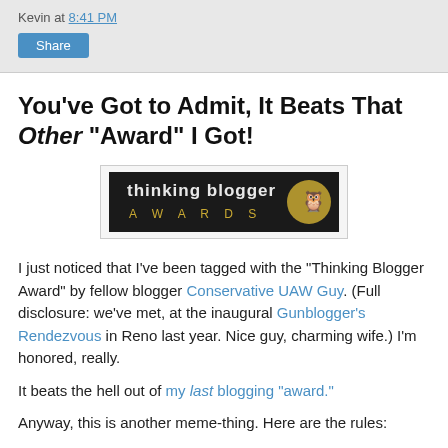Kevin at 8:41 PM
Share
You've Got to Admit, It Beats That Other "Award" I Got!
[Figure (logo): Thinking Blogger Awards badge — dark background with golden owl graphic and text 'thinking blogger AWARDS']
I just noticed that I've been tagged with the "Thinking Blogger Award" by fellow blogger Conservative UAW Guy. (Full disclosure: we've met, at the inaugural Gunblogger's Rendezvous in Reno last year. Nice guy, charming wife.) I'm honored, really.
It beats the hell out of my last blogging "award."
Anyway, this is another meme-thing. Here are the rules: